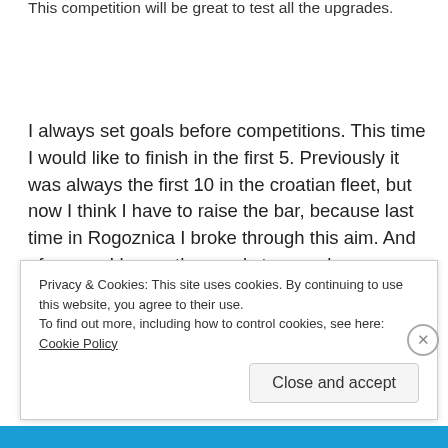This competition will be great to test all the upgrades.
I always set goals before competitions. This time I would like to finish in the first 5. Previously it was always the first 10 in the croatian fleet, but now I think I have to raise the bar, because last time in Rogoznica I broke through this aim. And of course I have other goals too as always: Learn, learn, learn!
Live your dreams!
Privacy & Cookies: This site uses cookies. By continuing to use this website, you agree to their use.
To find out more, including how to control cookies, see here: Cookie Policy
Close and accept